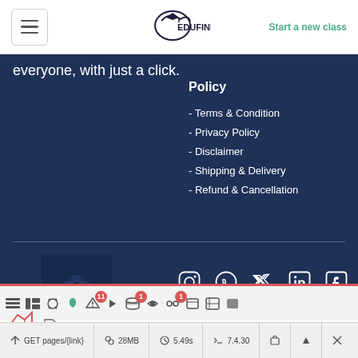EduFinder — Start a new class
everyone, with just a click.
Policy
- Terms & Condition
- Privacy Policy
- Disclaimer
- Shipping & Delivery
- Refund & Cancellation
[Figure (screenshot): Social media icons row: Instagram, WhatsApp, Twitter, LinkedIn, Facebook — white outlines on dark navy background]
GET pages/{link}   28MB   5.49s   7.4.30